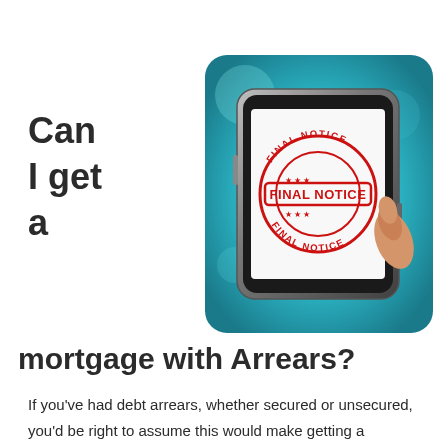Can I get a mortgage with Arrears?
[Figure (photo): Smartphone displaying a red circular 'FINAL NOTICE' stamp on its screen, with a hand tapping the screen, set against a teal/cyan blurred background.]
If you've had debt arrears, whether secured or unsecured, you'd be right to assume this would make getting a